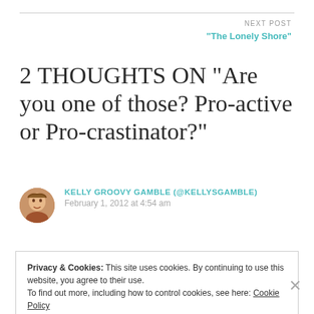NEXT POST
“The Lonely Shore”
2 thoughts on “Are you one of those? Pro-active or Pro-crastinator?”
KELLY GROOVY GAMBLE (@KELLYSGAMBLE)
February 1, 2012 at 4:54 am
Privacy & Cookies: This site uses cookies. By continuing to use this website, you agree to their use.
To find out more, including how to control cookies, see here: Cookie Policy
Close and accept